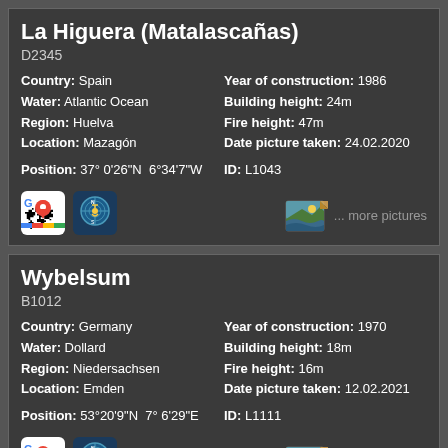La Higuera (Matalascañas)
D2345
Country: Spain | Water: Atlantic Ocean | Region: Huelva | Location: Mazagón | Position: 37° 0'26"N  6°34'7"W | Year of construction: 1986 | Building height: 24m | Fire height: 47m | Date picture taken: 24.02.2020 | ID: L1043
[Figure (other): Google Maps icon and nautical chart icon links; photo thumbnail with '... more pictures' link]
Wybelsum
B1012
Country: Germany | Water: Dollard | Region: Niedersachsen | Location: Emden | Position: 53°20'9"N  7° 6'29"E | Year of construction: 1970 | Building height: 18m | Fire height: 16m | Date picture taken: 12.02.2021 | ID: L1111
[Figure (other): Google Maps icon and nautical chart icon links; photo thumbnail with '... more pictures' link]
Pilsum